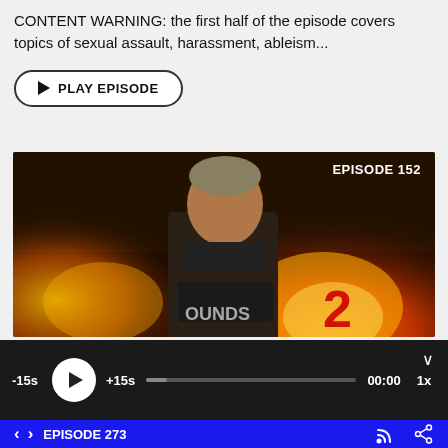CONTENT WARNING: the first half of the episode covers topics of sexual assault, harassment, ableism...
[Figure (screenshot): Play Episode button with outlined pill/rounded-rectangle border and play triangle icon, text reading PLAY EPISODE]
[Figure (photo): Movie poster image for '12 Rounds 2' showing a muscular man in dark clothing with fire/explosion behind him. Text in upper right reads 'EPISODE 152']
[Figure (screenshot): Podcast player bar with dark background: -15s button, circular white play button, +15s button, progress bar, 00:00 timestamp, 1x speed button, and a chevron down icon]
[Figure (screenshot): Blue bottom navigation bar with left/right arrows, 'EPISODE 273' text, RSS/feed icon, and share icon]